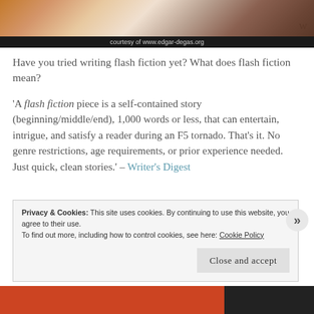[Figure (photo): Partial view of a painting (possibly Degas artwork) showing warm brown, orange, and flesh tones]
courtesy of www.edgar-degas.org
Have you tried writing flash fiction yet? What does flash fiction mean?
'A flash fiction piece is a self-contained story (beginning/middle/end), 1,000 words or less, that can entertain, intrigue, and satisfy a reader during an F5 tornado. That's it. No genre restrictions, age requirements, or prior experience needed. Just quick, clean stories.' – Writer's Digest
Privacy & Cookies: This site uses cookies. By continuing to use this website, you agree to their use. To find out more, including how to control cookies, see here: Cookie Policy